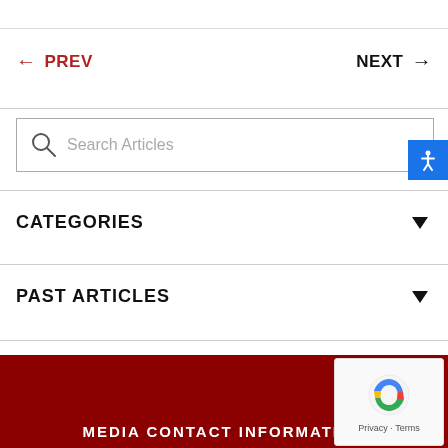← PREV
NEXT →
[Figure (screenshot): Search Articles input box with magnifying glass icon]
CATEGORIES
PAST ARTICLES
[Figure (screenshot): reCAPTCHA widget with Privacy and Terms text]
MEDIA CONTACT INFORMATION